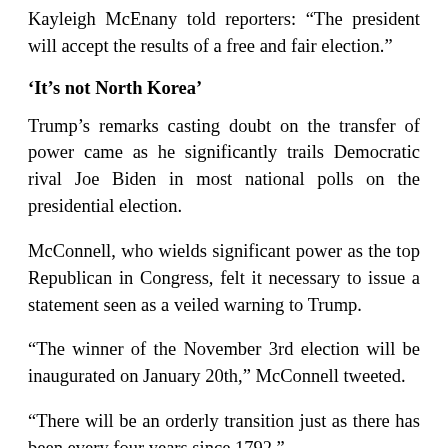Kayleigh McEnany told reporters: “The president will accept the results of a free and fair election.”
‘It’s not North Korea’
Trump’s remarks casting doubt on the transfer of power came as he significantly trails Democratic rival Joe Biden in most national polls on the presidential election.
McConnell, who wields significant power as the top Republican in Congress, felt it necessary to issue a statement seen as a veiled warning to Trump.
“The winner of the November 3rd election will be inaugurated on January 20th,” McConnell tweeted.
“There will be an orderly transition just as there has been every four years since 1792.”